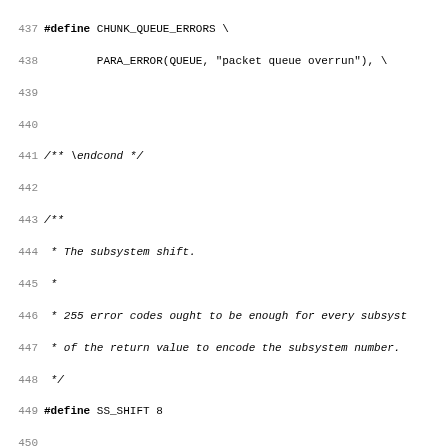[Figure (other): Source code listing lines 437–468 in C/C++ style with line numbers, showing preprocessor macros CHUNK_QUEUE_ERRORS, SS_SHIFT, SS_OFFSET, and SS_ENUM with Doxygen-style comments]